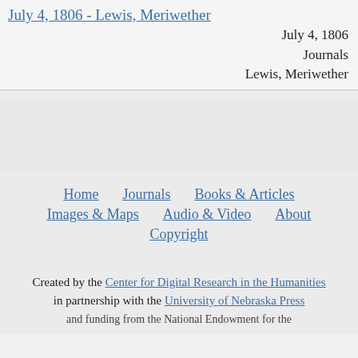July 4, 1806 - Lewis, Meriwether
July 4, 1806
Journals
Lewis, Meriwether
Home   Journals   Books & Articles   Images & Maps   Audio & Video   About   Copyright
Created by the Center for Digital Research in the Humanities in partnership with the University of Nebraska Press and funding from the National Endowment for the Humanities.